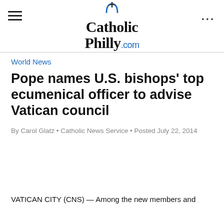[Figure (logo): CatholicPhilly.com logo with cross above text and blue .com suffix]
World News
Pope names U.S. bishops' top ecumenical officer to advise Vatican council
By Carol Glatz • Catholic News Service • Posted July 22, 2014
VATICAN CITY (CNS) — Among the new members and